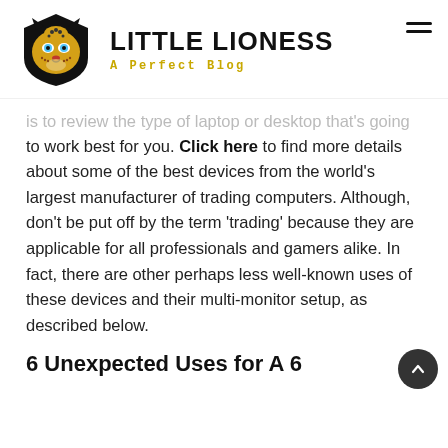[Figure (logo): Little Lioness blog logo — cheetah/lion head in black shield with gold markings and blue eyes]
LITTLE LIONESS
A Perfect Blog
is to review the type of laptop or desktop that's going to work best for you. Click here to find more details about some of the best devices from the world's largest manufacturer of trading computers. Although, don't be put off by the term 'trading' because they are applicable for all professionals and gamers alike. In fact, there are other perhaps less well-known uses of these devices and their multi-monitor setup, as described below.
6 Unexpected Uses for A 6